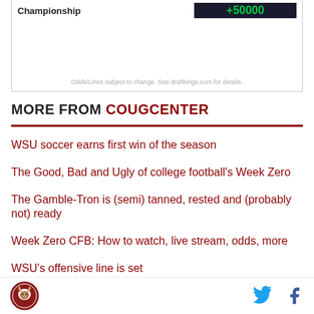Championship — +50000
Odds/Lines subject to change. See draftkings.com for details.
MORE FROM COUGCENTER
WSU soccer earns first win of the season
The Good, Bad and Ugly of college football's Week Zero
The Gamble-Tron is (semi) tanned, rested and (probably not) ready
Week Zero CFB: How to watch, live stream, odds, more
WSU's offensive line is set
WSU soccer settles for scoreless draw with Portland
CougCenter logo, Twitter icon, Facebook icon